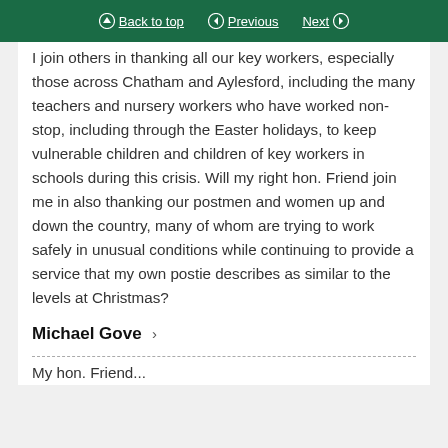Back to top | Previous | Next
I join others in thanking all our key workers, especially those across Chatham and Aylesford, including the many teachers and nursery workers who have worked non-stop, including through the Easter holidays, to keep vulnerable children and children of key workers in schools during this crisis. Will my right hon. Friend join me in also thanking our postmen and women up and down the country, many of whom are trying to work safely in unusual conditions while continuing to provide a service that my own postie describes as similar to the levels at Christmas?
Michael Gove
My hon. Friend...